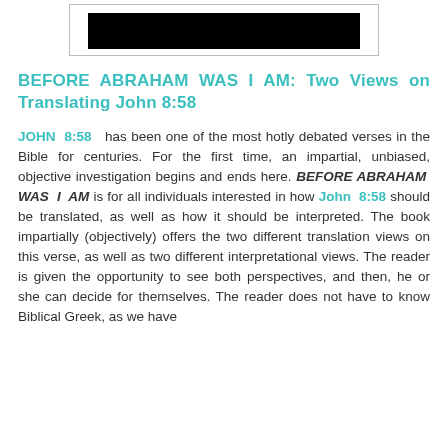[Figure (other): Redacted black bar image at the top of the page inside a bordered container]
BEFORE ABRAHAM WAS I AM: Two Views on Translating John 8:58
JOHN 8:58 has been one of the most hotly debated verses in the Bible for centuries. For the first time, an impartial, unbiased, objective investigation begins and ends here. BEFORE ABRAHAM WAS I AM is for all individuals interested in how John 8:58 should be translated, as well as how it should be interpreted. The book impartially (objectively) offers the two different translation views on this verse, as well as two different interpretational views. The reader is given the opportunity to see both perspectives, and then, he or she can decide for themselves. The reader does not have to know Biblical Greek, as we have